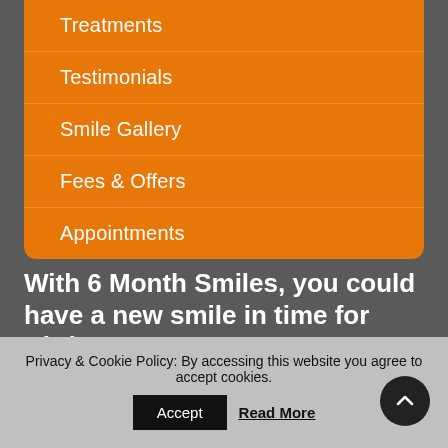Treatments
Testimonials
Smile Gallery
Fees & Offers
Appointments
With 6 Month Smiles, you could have a new smile in time for Christmas
Cosmetic braces such as 6 Month Smiles are designed to work discreetly and quickly. At Danny de Villiers Dentist in
Privacy & Cookie Policy: By accessing this website you agree to accept cookies.
Accept
Read More